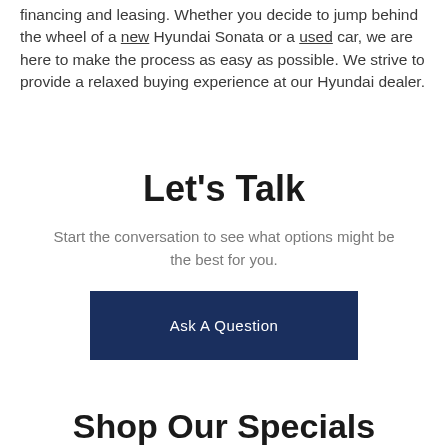financing and leasing. Whether you decide to jump behind the wheel of a new Hyundai Sonata or a used car, we are here to make the process as easy as possible. We strive to provide a relaxed buying experience at our Hyundai dealer.
Let's Talk
Start the conversation to see what options might be the best for you.
Ask A Question
Shop Our Specials